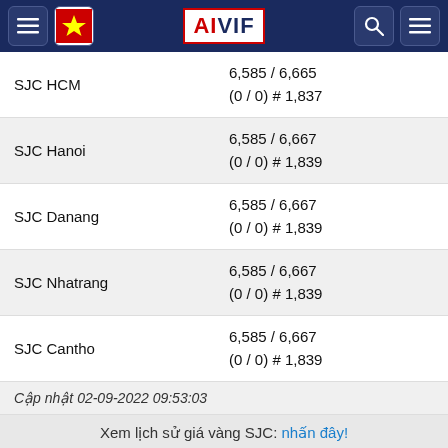AIVIF
|  |  |
| --- | --- |
| SJC HCM | 6,585 / 6,665
(0 / 0) # 1,837 |
| SJC Hanoi | 6,585 / 6,667
(0 / 0) # 1,839 |
| SJC Danang | 6,585 / 6,667
(0 / 0) # 1,839 |
| SJC Nhatrang | 6,585 / 6,667
(0 / 0) # 1,839 |
| SJC Cantho | 6,585 / 6,667
(0 / 0) # 1,839 |
Cập nhật 02-09-2022 09:53:03
Xem lịch sử giá vàng SJC: nhấn đây!
⊕ Giá vàng thế giới
$1,698.14   -10.32   -0.60%